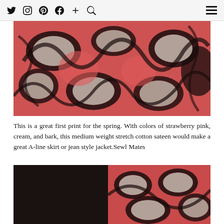Social media navigation bar with icons: Twitter, Instagram, Pinterest, Facebook, Plus, Search, and hamburger menu
[Figure (photo): Close-up photo of a pink, cream, and dark bark colored floral/paisley print stretch cotton sateen fabric]
This is a great first print for the spring. With colors of strawberry pink, cream, and bark, this medium weight stretch cotton sateen would make a great A-line skirt or jean style jacket.Sewl Mates
[Figure (photo): Two side-by-side photos: left shows dark fabric on black background, right shows close-up of the pink floral paisley print fabric]